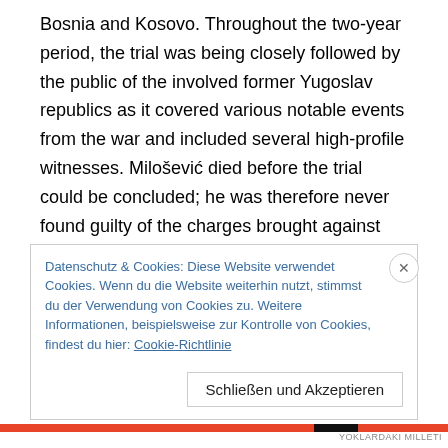Bosnia and Kosovo. Throughout the two-year period, the trial was being closely followed by the public of the involved former Yugoslav republics as it covered various notable events from the war and included several high-profile witnesses. Milošević died before the trial could be concluded; he was therefore never found guilty of the charges brought against him.
Milošević was charged by the ICTY with war crimes in the midst of the NATO bombing of Yugoslavia in 1999. He was charged with war crimes including genocide, and crimes against humanity in connection to the wars in Bosnia,
Datenschutz & Cookies: Diese Website verwendet Cookies. Wenn du die Website weiterhin nutzt, stimmst du der Verwendung von Cookies zu. Weitere Informationen, beispielsweise zur Kontrolle von Cookies, findest du hier: Cookie-Richtlinie
Schließen und Akzeptieren